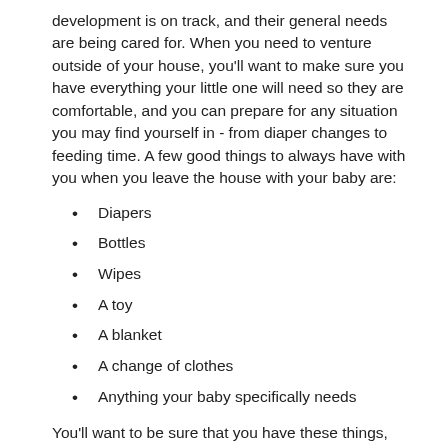development is on track, and their general needs are being cared for. When you need to venture outside of your house, you'll want to make sure you have everything your little one will need so they are comfortable, and you can prepare for any situation you may find yourself in - from diaper changes to feeding time. A few good things to always have with you when you leave the house with your baby are:
Diapers
Bottles
Wipes
A toy
A blanket
A change of clothes
Anything your baby specifically needs
You'll want to be sure that you have these things, even when you're on the go. But deciding what you use to carry these things around depends on you and your needs. While some parents go for the standard diaper bag, some opt for the diaper